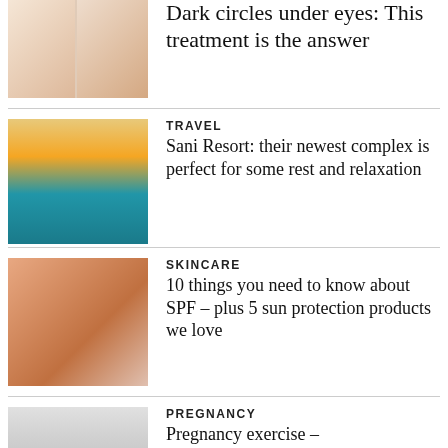[Figure (photo): Two women's faces side by side showing skin before and after treatment]
Dark circles under eyes: This treatment is the answer
[Figure (photo): Resort pool with palm trees at sunset reflected in calm water]
TRAVEL
Sani Resort: their newest complex is perfect for some rest and relaxation
[Figure (photo): Sunscreen applied on skin in shape of a sun drawn with finger]
SKINCARE
10 things you need to know about SPF – plus 5 sun protection products we love
[Figure (photo): Pregnant woman in sportswear holding a yoga mat]
PREGNANCY
Pregnancy exercise – woman's fitness specialist